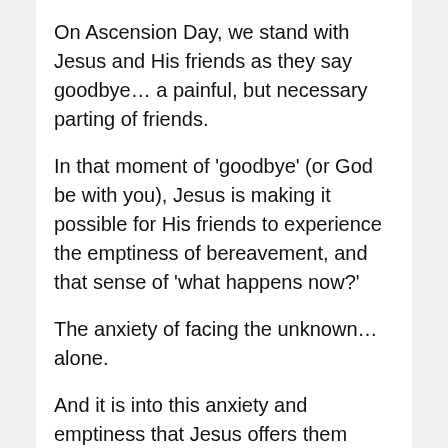On Ascension Day, we stand with Jesus and His friends as they say goodbye… a painful, but necessary parting of friends.
In that moment of 'goodbye' (or God be with you), Jesus is making it possible for His friends to experience the emptiness of bereavement, and that sense of 'what happens now?'
The anxiety of facing the unknown… alone.
And it is into this anxiety and emptiness that Jesus offers them hope… and a presence to be with them… HIS presence.
'Behold, I am with you always, even to the end of time.'